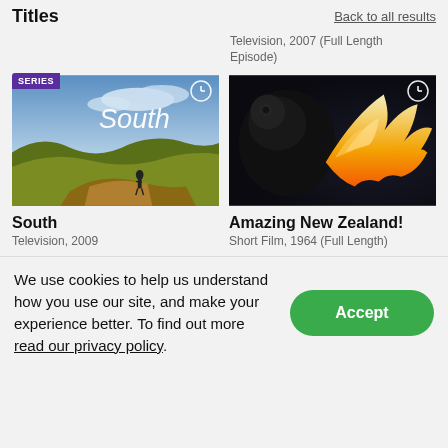Titles
Back to all results
Television, 2007 (Full Length Episode)
[Figure (photo): Thumbnail image for 'South' series showing a landscape at sunset with a person standing on rocks, with 'SERIES' badge and clock icon overlay]
South
Television, 2009
[Figure (photo): Thumbnail image for 'Amazing New Zealand!' showing a bird with orange/red flame-like plumage against a dark background, with clock icon overlay]
Amazing New Zealand!
Short Film, 1964 (Full Length)
We use cookies to help us understand how you use our site, and make your experience better. To find out more read our privacy policy.